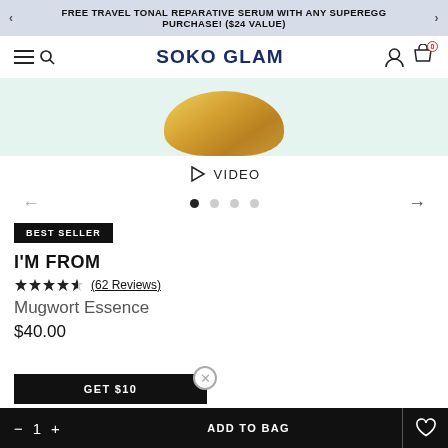FREE TRAVEL TONAL REPARATIVE SERUM WITH ANY SUPEREGG PURCHASE! ($24 VALUE)
SOKO GLAM
[Figure (photo): Product image of a gold jar (I'm From Mugwort Essence) on a light mint/green background, partially visible at top of product detail page]
VIDEO
[Figure (infographic): Carousel navigation with left arrow, 4 dots (first dot active/filled), and right arrow]
BEST SELLER
I'M FROM
(62 Reviews)
Mugwort Essence
$40.00
GET $10
- 1 +
ADD TO BAG